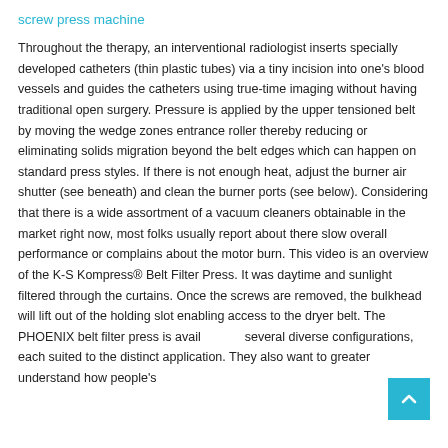screw press machine
Throughout the therapy, an interventional radiologist inserts specially developed catheters (thin plastic tubes) via a tiny incision into one's blood vessels and guides the catheters using true-time imaging without having traditional open surgery. Pressure is applied by the upper tensioned belt by moving the wedge zones entrance roller thereby reducing or eliminating solids migration beyond the belt edges which can happen on standard press styles. If there is not enough heat, adjust the burner air shutter (see beneath) and clean the burner ports (see below). Considering that there is a wide assortment of a vacuum cleaners obtainable in the market right now, most folks usually report about there slow overall performance or complains about the motor burn. This video is an overview of the K-S Kompress® Belt Filter Press. It was daytime and sunlight filtered through the curtains. Once the screws are removed, the bulkhead will lift out of the holding slot enabling access to the dryer belt. The PHOENIX belt filter press is available in several diverse configurations, each suited to the distinct application. They also want to greater understand how people's